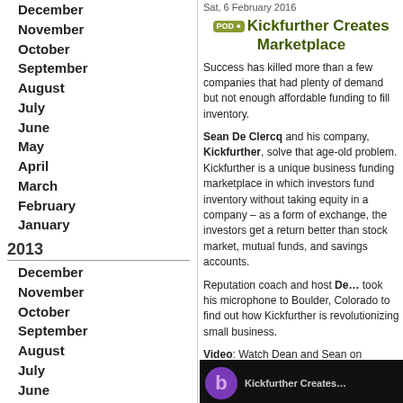December
November
October
September
August
July
June
May
April
March
February
January
2013
December
November
October
September
August
July
June
May
April
March
February
January
2012
December
November
October
September
August
Sat, 6 February 2016
Kickfurther Creates Marketplace
Success has killed more than a few companies that had plenty of demand but not enough affordable funding to fill orders for inventory.
Sean De Clercq and his company, Kickfurther, solve that age-old problem. Kickfurther is a unique business funding marketplace in which investors fund inventory without taking equity in a company – as a form of exchange, the investors get a return better than stock market, mutual funds, and savings accounts.
Reputation coach and host De… took his microphone to Boulder, Colorado to find out how Kickfurther is revolutionizing small business.
Video: Watch Dean and Sean on Boulder Morning Radio
[Figure (screenshot): Video thumbnail showing Blab interface with purple circle logo and text 'Kickfurther Creates']